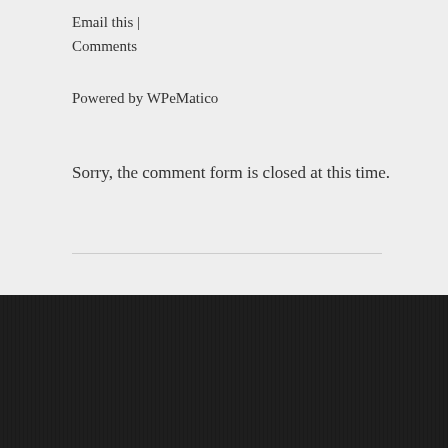Email this | Comments
Powered by WPeMatico
Sorry, the comment form is closed at this time.
Connect with us